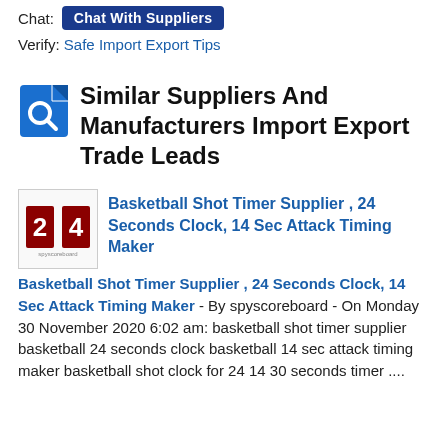Chat: [Chat With Suppliers button]
Verify: Safe Import Export Tips
Similar Suppliers And Manufacturers Import Export Trade Leads
[Figure (illustration): Thumbnail image showing basketball scoreboard numbers in red on white background]
Basketball Shot Timer Supplier , 24 Seconds Clock, 14 Sec Attack Timing Maker - By spyscoreboard - On Monday 30 November 2020 6:02 am: basketball shot timer supplier basketball 24 seconds clock basketball 14 sec attack timing maker basketball shot clock for 24 14 30 seconds timer ....